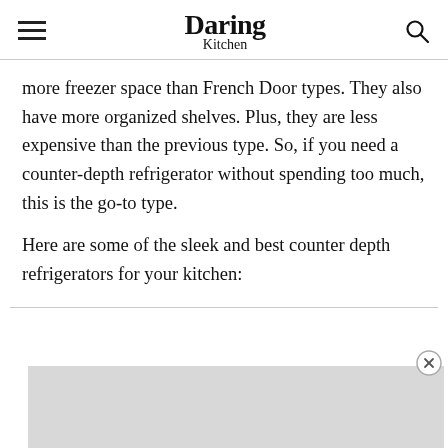Daring Kitchen
more freezer space than French Door types. They also have more organized shelves. Plus, they are less expensive than the previous type. So, if you need a counter-depth refrigerator without spending too much, this is the go-to type.
Here are some of the sleek and best counter depth refrigerators for your kitchen:
[Figure (other): Advertisement banner placeholder (gray rectangle) with a close/dismiss button (X in circle) to the right]